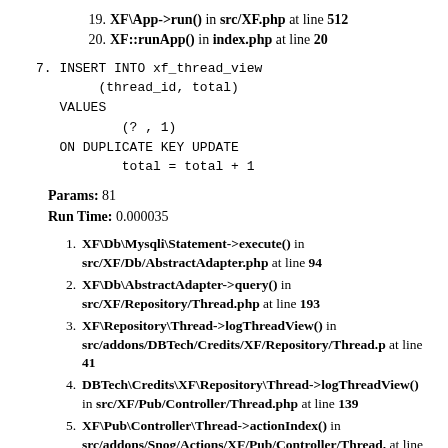19. XF\App->run() in src/XF.php at line 512
20. XF::runApp() in index.php at line 20
7. INSERT INTO xf_thread_view
        (thread_id, total)
    VALUES
            (? , 1)
    ON DUPLICATE KEY UPDATE
            total = total + 1
Params: 81
Run Time: 0.000035
1. XF\Db\Mysqli\Statement->execute() in src/XF/Db/AbstractAdapter.php at line 94
2. XF\Db\AbstractAdapter->query() in src/XF/Repository/Thread.php at line 193
3. XF\Repository\Thread->logThreadView() in src/addons/DBTech/Credits/XF/Repository/Thread.p at line 41
4. DBTech\Credits\XF\Repository\Thread->logThreadView() in src/XF/Pub/Controller/Thread.php at line 139
5. XF\Pub\Controller\Thread->actionIndex() in src/addons/Snog/Actions/XF/Pub/Controller/Thread. at line 11